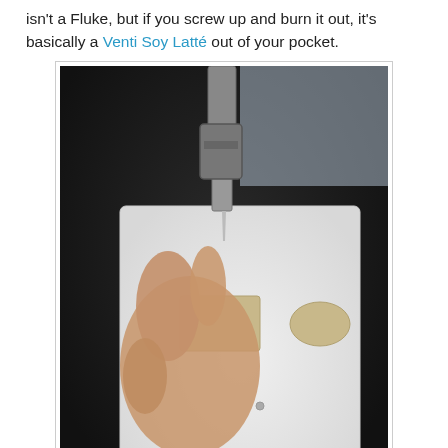isn't a Fluke, but if you screw up and burn it out, it's basically a Venti Soy Latté out of your pocket.
[Figure (photo): A hand holding a drill bit positioned over a white electrical switch plate cover, drilling a round hole. The plate has a rectangular opening and a partially drilled circular cutout visible.]
Lastly, I needed a cover and the configuration with a rectangle and a round isn't typical.  I took a plate with a rectangle and an old-style flip switch opening (small rectangle) and drilled a hole for the round.  This picture is from me doing it to a different cover for elsewhere, but gives the idea.  I screwed a single cover with a round to the cover to drill then used that hole to place a 35mm hole (Euro-hinge Forstner bit) right where I needed it.  Couple seconds of filing to get a perfect fit.
[Figure (photo): Partial view of another photo at the bottom of the page, showing a close-up of a surface being worked on.]